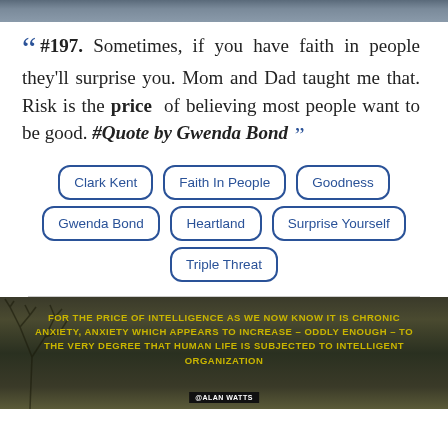[Figure (photo): Dark landscape/sky photo at top of page]
#197. Sometimes, if you have faith in people they'll surprise you. Mom and Dad taught me that. Risk is the price of believing most people want to be good. #Quote by Gwenda Bond
Clark Kent
Faith In People
Goodness
Gwenda Bond
Heartland
Surprise Yourself
Triple Threat
[Figure (photo): Dark moody landscape with bare tree and cloudy sky. Yellow text overlay with Alan Watts quote about price of intelligence being chronic anxiety.]